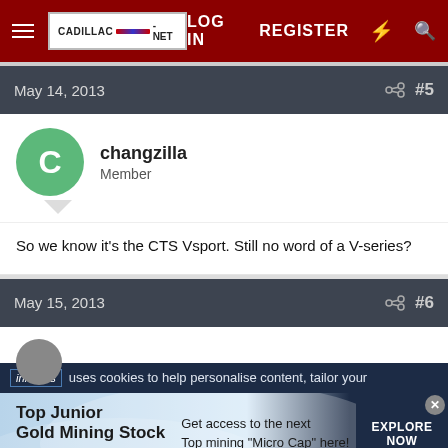CADILLAC-NET | LOG IN | REGISTER
May 14, 2013  #5
changzilla
Member
So we know it's the CTS Vsport. Still no word of a V-series?
May 15, 2013  #6
infolinks uses cookies to help personalise content, tailor your
[Figure (screenshot): Advertisement banner for Top Junior Gold Mining Stock with text 'Get access to the next Top mining Micro Cap here!' and EXPLORE NOW button]